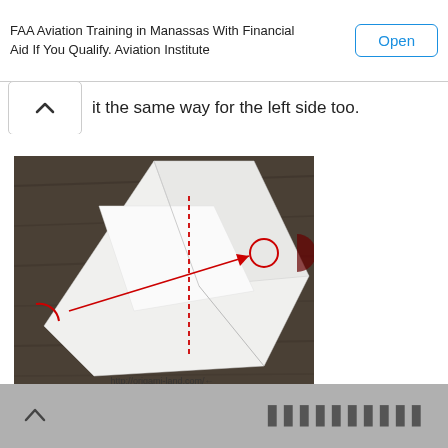FAA Aviation Training in Manassas With Financial Aid If You Qualify. Aviation Institute
it the same way for the left side too.
[Figure (photo): Origami folding step photo showing white paper folded into a triangular shape on a dark wooden surface, with red dashed lines and arrows indicating fold directions. Watermark: http://origami-land.com/]